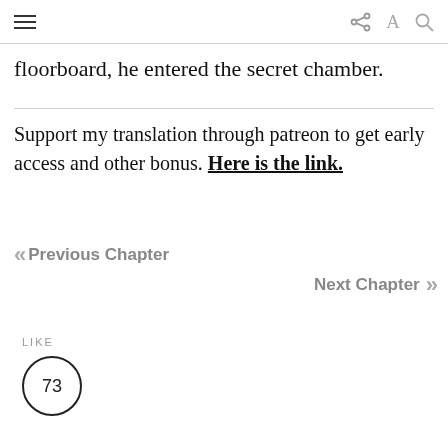≡  [share] A Q
floorboard, he entered the secret chamber.
Support my translation through patreon to get early access and other bonus. Here is the link.
« Previous Chapter
Next Chapter »
LIKE
73